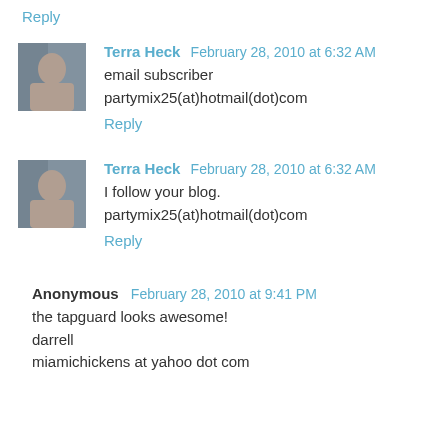Reply
Terra Heck  February 28, 2010 at 6:32 AM
email subscriber
partymix25(at)hotmail(dot)com
Reply
Terra Heck  February 28, 2010 at 6:32 AM
I follow your blog.
partymix25(at)hotmail(dot)com
Reply
Anonymous  February 28, 2010 at 9:41 PM
the tapguard looks awesome!
darrell
miamichickens at yahoo dot com